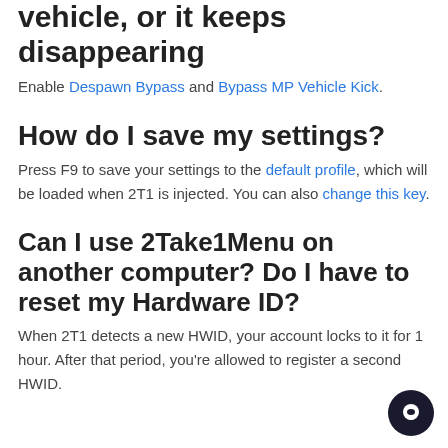vehicle, or it keeps disappearing
Enable Despawn Bypass and Bypass MP Vehicle Kick.
How do I save my settings?
Press F9 to save your settings to the default profile, which will be loaded when 2T1 is injected. You can also change this key.
Can I use 2Take1Menu on another computer? Do I have to reset my Hardware ID?
When 2T1 detects a new HWID, your account locks to it for 1 hour. After that period, you're allowed to register a second HWID.